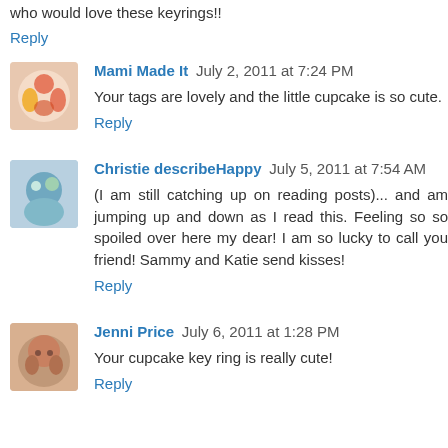who would love these keyrings!!
Reply
Mami Made It  July 2, 2011 at 7:24 PM
Your tags are lovely and the little cupcake is so cute.
Reply
Christie describeHappy  July 5, 2011 at 7:54 AM
(I am still catching up on reading posts)... and am jumping up and down as I read this. Feeling so so spoiled over here my dear! I am so lucky to call you friend! Sammy and Katie send kisses!
Reply
Jenni Price  July 6, 2011 at 1:28 PM
Your cupcake key ring is really cute!
Reply